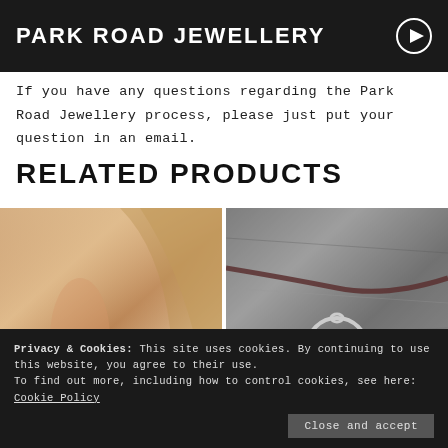PARK ROAD JEWELLERY
If you have any questions regarding the Park Road Jewellery process, please just put your question in an email.
RELATED PRODUCTS
[Figure (photo): Close-up photo of a woman wearing a silver necklace, with a white shirt visible]
[Figure (photo): Photo of a circular silver pendant on a dark leather cord, resting on a stone surface]
PRECHITE NECKLACE
CIRCULAR MOUNTAIN PENDANT
Privacy & Cookies: This site uses cookies. By continuing to use this website, you agree to their use. To find out more, including how to control cookies, see here: Cookie Policy
Close and accept